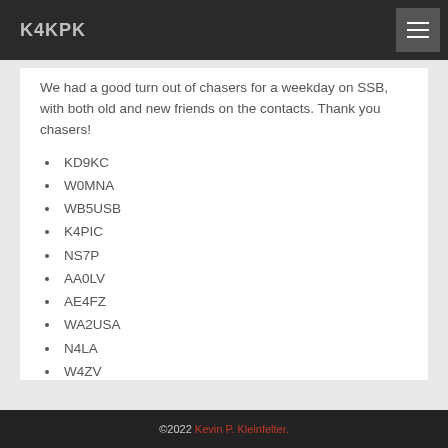K4KPK
We had a good turn out of chasers for a weekday on SSB, with both old and new friends on the contacts. Thank you chasers!
KD9KC
W0MNA
WB5USB
K4PIC
NS7P
AA0LV
AE4FZ
WA2USA
N4LA
W4ZV
W4WNT
©2022 Kevin P. Kleinfelter.